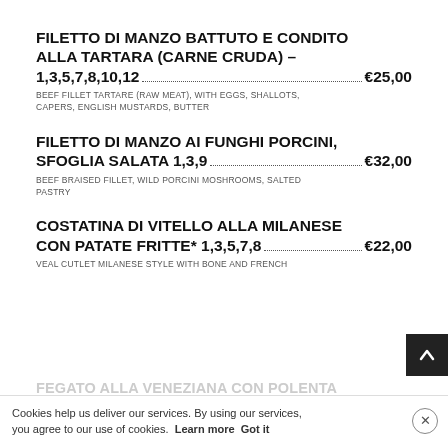FILETTO DI MANZO BATTUTO E CONDITO ALLA TARTARA (CARNE CRUDA) – 1,3,5,7,8,10,12 €25,00
BEEF FILLET TARTARE (RAW MEAT), WITH EGGS, SHALLOTS, CAPERS, ENGLISH MUSTARDS, BUTTER
FILETTO DI MANZO AI FUNGHI PORCINI, SFOGLIA SALATA 1,3,9 €32,00
BEEF BRAISED FILLET, WILD PORCINI MOSHROOMS, SALTED PASTRY
COSTATINA DI VITELLO ALLA MILANESE CON PATATE FRITTE* 1,3,5,7,8 €22,00
VEAL CUTLET MILANESE STYLE WITH BONE AND FRENCH
FEGATO ALLA VENEZIANA CON POLENTA
Cookies help us deliver our services. By using our services, you agree to our use of cookies. Learn more Got it